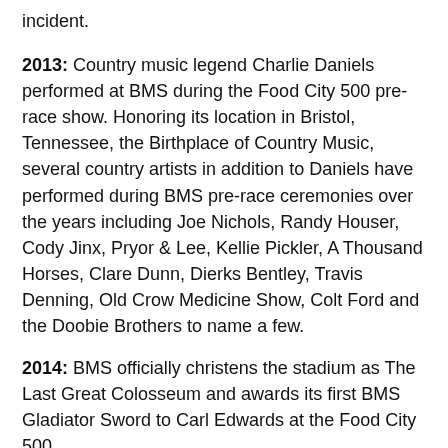incident.
2013: Country music legend Charlie Daniels performed at BMS during the Food City 500 pre-race show. Honoring its location in Bristol, Tennessee, the Birthplace of Country Music, several country artists in addition to Daniels have performed during BMS pre-race ceremonies over the years including Joe Nichols, Randy Houser, Cody Jinx, Pryor & Lee, Kellie Pickler, A Thousand Horses, Clare Dunn, Dierks Bentley, Travis Denning, Old Crow Medicine Show, Colt Ford and the Doobie Brothers to name a few.
2014: BMS officially christens the stadium as The Last Great Colosseum and awards its first BMS Gladiator Sword to Carl Edwards at the Food City 500.
2015: Survey data reveals that BMS ticket holders come from all 50 states and 20 different countries.
2016: In April, an engineering team installed Colossus TV, the world's largest outdoor permanent center-hung television. The four sided screen requires 117 tons of thick